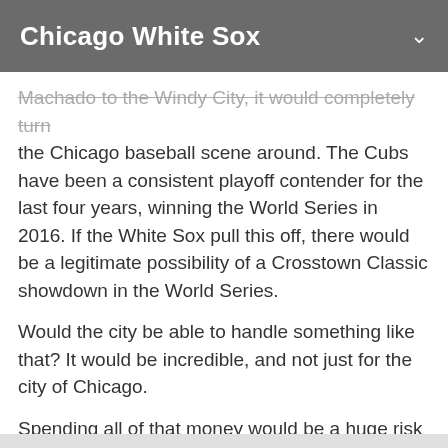Chicago White Sox
Machado to the Windy City, it would completely turn the Chicago baseball scene around. The Cubs have been a consistent playoff contender for the last four years, winning the World Series in 2016. If the White Sox pull this off, there would be a legitimate possibility of a Crosstown Classic showdown in the World Series.
Would the city be able to handle something like that? It would be incredible, and not just for the city of Chicago.
Spending all of that money would be a huge risk for the White Sox, and we’ve seen plenty of teams sign players to enormous contracts only to have it not work out in the end. But if the Sox have a chance to actually make this happen, they shouldn’t think twice about it.